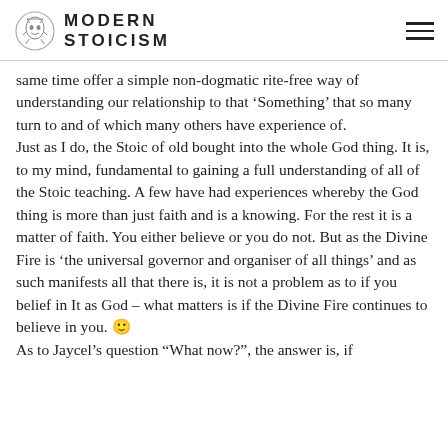MODERN STOICISM
same time offer a simple non-dogmatic rite-free way of understanding our relationship to that ‘Something’ that so many turn to and of which many others have experience of.
Just as I do, the Stoic of old bought into the whole God thing. It is, to my mind, fundamental to gaining a full understanding of all of the Stoic teaching. A few have had experiences whereby the God thing is more than just faith and is a knowing. For the rest it is a matter of faith. You either believe or you do not. But as the Divine Fire is ‘the universal governor and organiser of all things’ and as such manifests all that there is, it is not a problem as to if you belief in It as God – what matters is if the Divine Fire continues to believe in you. 🙂
As to Jaycel’s question “What now?”, the answer is, if